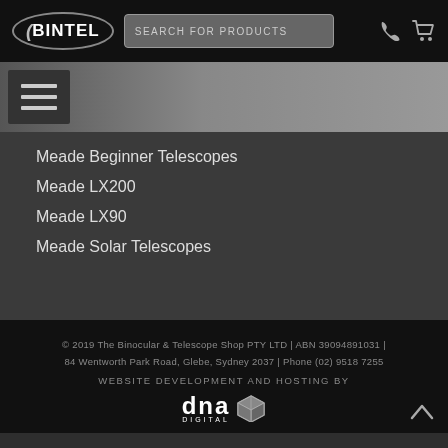BINTEL | SEARCH FOR PRODUCTS
[Figure (screenshot): Navigation hamburger menu button with three horizontal bars on dark background with grey gradient nav bar]
Meade Beginner Telescopes
Meade LX200
Meade LX90
Meade Solar Telescopes
© 2019 The Binocular & Telescope Shop PTY LTD | ABN 39094891031 | 84 Wentworth Park Road, Glebe, Sydney 2037 | Phone (02) 9518 7255
WEBSITE DEVELOPMENT AND HOSTING BY
dna DIGITAL